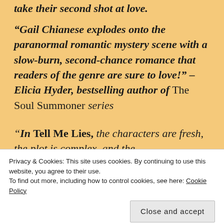take their second shot at love.
“Gail Chianese explodes onto the paranormal romantic mystery scene with a slow-burn, second-chance romance that readers of the genre are sure to love!” –Elicia Hyder, bestselling author of The Soul Summoner series
“In Tell Me Lies, the characters are fresh, the plot is complex, and the
Privacy & Cookies: This site uses cookies. By continuing to use this website, you agree to their use.
To find out more, including how to control cookies, see here: Cookie Policy
Close and accept
Brown, author The Housewife